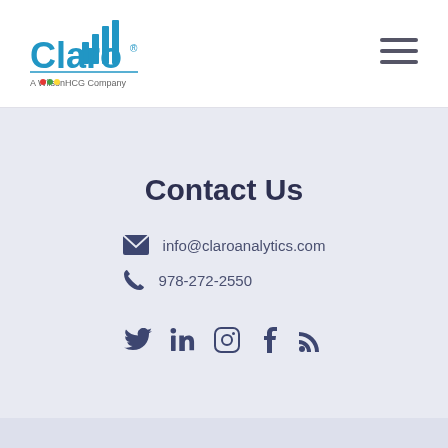[Figure (logo): Claro logo with bar chart icon and 'A WilsonHCG Company' tagline]
Contact Us
info@claroanalytics.com
978-272-2550
[Figure (other): Social media icons: Twitter, LinkedIn, Instagram, Facebook, RSS]